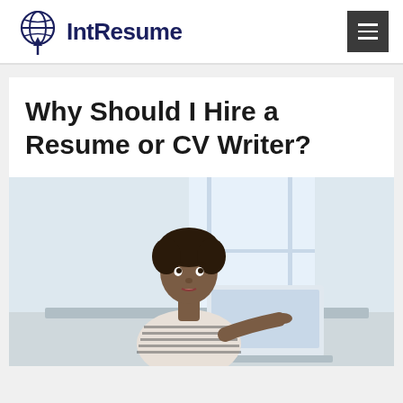[Figure (logo): IntResume logo with globe icon and upward arrow]
Why Should I Hire a Resume or CV Writer?
[Figure (photo): A Black woman in a striped top sitting at a laptop, looking upward thoughtfully, with bright background]